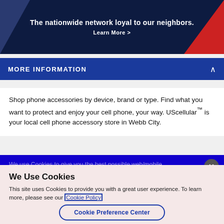[Figure (illustration): Dark navy banner with geometric triangles (purple-blue left, red right), white bold text 'The nationwide network loyal to our neighbors.' and 'Learn More >' link]
MORE INFORMATION
Shop phone accessories by device, brand or type. Find what you want to protect and enjoy your cell phone, your way. UScellular™ is your local cell phone accessory store in Webb City.
We use Cookies to give you the best possible web/mobile experience about the cookies we use will find more about you can manage your preferences through...
We Use Cookies
This site uses Cookies to provide you with a great user experience. To learn more, please see our Cookie Policy
Cookie Preference Center